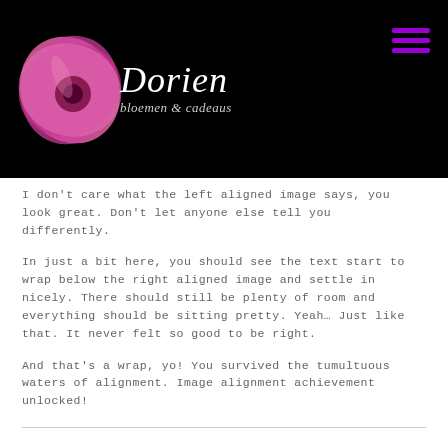[Figure (logo): Dorien bloemen & cadeaus logo with pink flower on black background and hamburger menu icon in purple]
I don't care what the left aligned image says, you look great. Don't let anyone else tell you differently.
In just a bit here, you should see the text start to wrap below the right aligned image and settle in nicely. There should still be plenty of room and everything should be sitting pretty. Yeah… Just like that. It never felt so good to be right.
And that's a wrap, yo! You survived the tumultuous waters of alignment. Image alignment achievement unlocked!